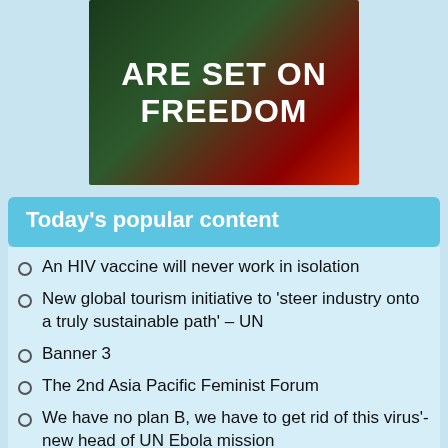[Figure (photo): Banner image with text 'ARE SET ON FREEDOM' in white bold uppercase letters on a dark green and red background]
Today's popular content
An HIV vaccine will never work in isolation
New global tourism initiative to 'steer industry onto a truly sustainable path' – UN
Banner 3
The 2nd Asia Pacific Feminist Forum
We have no plan B, we have to get rid of this virus'- new head of UN Ebola mission
Ban reaffirms support for peace on Korean Peninsula
2015 Can and must be time for global action
Global Compact to help end poverty